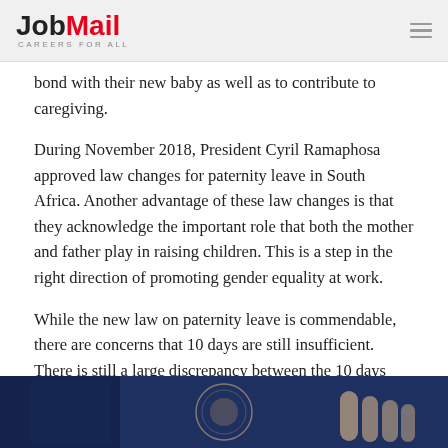JobMail CAREERS FOR ALL
bond with their new baby as well as to contribute to caregiving.
During November 2018, President Cyril Ramaphosa approved law changes for paternity leave in South Africa. Another advantage of these law changes is that they acknowledge the important role that both the mother and father play in raising children. This is a step in the right direction of promoting gender equality at work.
While the new law on paternity leave is commendable, there are concerns that 10 days are still insufficient. There is still a large discrepancy between the 10 days that fathers receive and the four months that mothers are entitled to. Our country is the first in Sub-Saharan Africa to acknowledge the importance of parental leave in their laws.
[Figure (photo): Partial view of a person wearing a blue garment, photo strip at bottom of page]